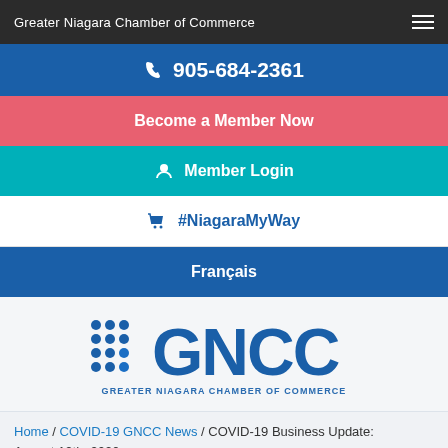Greater Niagara Chamber of Commerce
905-684-2361
Become a Member Now
Member Login
#NiagaraMyWay
Français
[Figure (logo): GNCC Greater Niagara Chamber of Commerce logo with dot grid icon and large GNCC letters]
Home / COVID-19 GNCC News / COVID-19 Business Update: August 12th, 2020